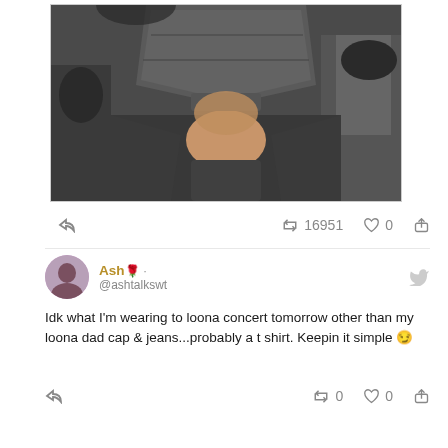[Figure (photo): A person wearing a dark face mask and dark jacket, selfie-style photo in a car. Another person with black face mask visible in background.]
16951  0
Ash 🌹 · @ashtalkswt
Idk what I'm wearing to loona concert tomorrow other than my loona dad cap & jeans...probably a t shirt. Keepin it simple 😏
0  0